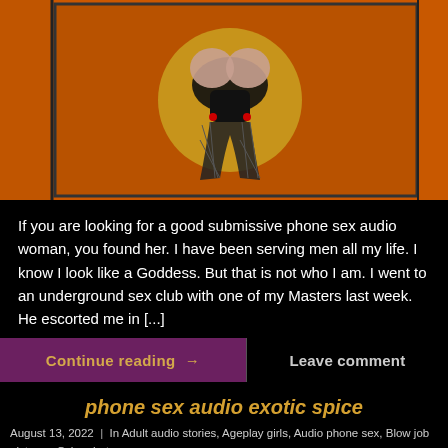[Figure (photo): Stylized adult figure with orange background and phone number (800) 211-54...]
If you are looking for a good submissive phone sex audio woman, you found her. I have been serving men all my life. I know I look like a Goddess. But that is not who I am. I went to an underground sex club with one of my Masters last week. He escorted me in [...]
Continue reading →
Leave comment
phone sex audio exotic spice
August 13, 2022 | In Adult audio stories, Ageplay girls, Audio phone sex, Blow job pictures, Cyberchat, Dominating phone sex, Erotic phone sex, Phone sex audio, Phone sex sluts, Sextalk audio | By Pho...